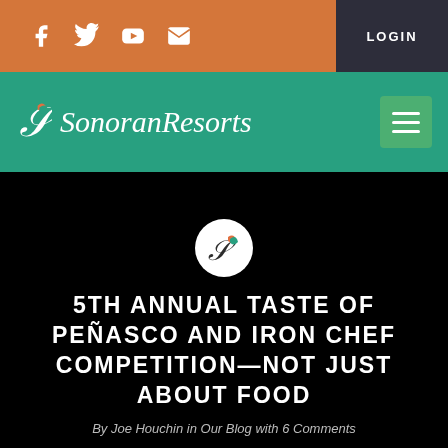LOGIN
Sonoran Resorts
[Figure (logo): Sonoran Resorts logo icon in white circle]
5TH ANNUAL TASTE OF PEÑASCO AND IRON CHEF COMPETITION—NOT JUST ABOUT FOOD
By Joe Houchin in Our Blog with 6 Comments